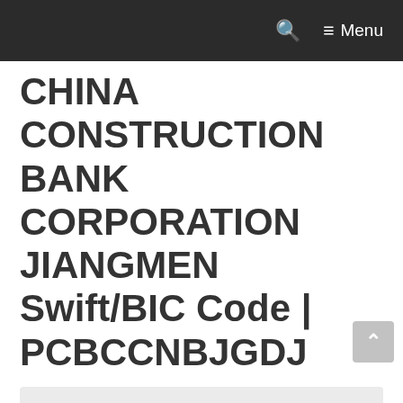🔍  ≡ Menu
CHINA CONSTRUCTION BANK CORPORATION JIANGMEN Swift/BIC Code | PCBCCNBJGDJ
Home / Swift Code / CHINA / CHINA CONSTRUCTION BANK CORPORATION JIANGMEN Swift/BIC Code | PCBCCNBJGDJ
Page Contents: [show]
A bank swift code, also known as a BIC (Business Identifier Code), is an international standard format for Business Identifiers. It